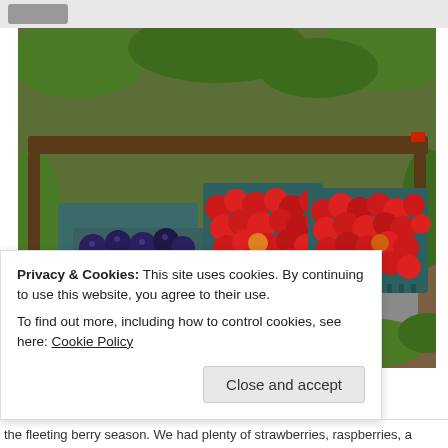[Figure (photo): Outdoor photo of pint containers of fresh berries — blueberries and raspberries — arranged on a metal tray in a garden/farm setting with green foliage in the background.]
Privacy & Cookies: This site uses cookies. By continuing to use this website, you agree to their use.
To find out more, including how to control cookies, see here: Cookie Policy
Close and accept
the fleeting berry season. We had plenty of strawberries, raspberries, a